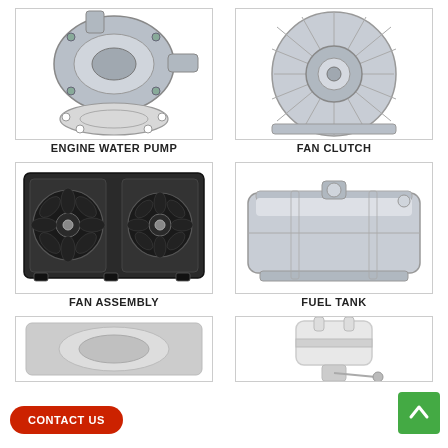[Figure (photo): Engine water pump component - metallic pump body with gasket]
ENGINE WATER PUMP
[Figure (photo): Fan clutch - circular metallic radiator fan clutch with fins]
FAN CLUTCH
[Figure (photo): Fan assembly - dual electric cooling fan assembly in black plastic frame]
FAN ASSEMBLY
[Figure (photo): Fuel tank - rectangular metallic fuel tank]
FUEL TANK
[Figure (photo): Partial view of another auto part at bottom left]
[Figure (photo): Fuel pump or filter component - white cylindrical part at bottom right]
CONTACT US